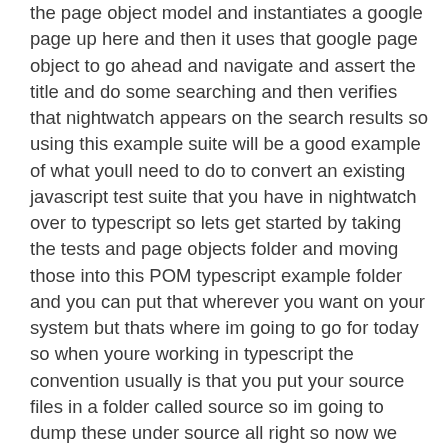the page object model and instantiates a google page up here and then it uses that google page object to go ahead and navigate and assert the title and do some searching and then verifies that nightwatch appears on the search results so using this example suite will be a good example of what youll need to do to convert an existing javascript test suite that you have in nightwatch over to typescript so lets get started by taking the tests and page objects folder and moving those into this POM typescript example folder and you can put that wherever you want on your system but thats where im going to go for today so when youre working in typescript the convention usually is that you put your source files in a folder called source so im going to dump these under source all right so now we have our page object and our test under the source folder so now we can go ahead and set up the rest of the test project so now to create our package.json file since we dont have one yet im going to run npm init dash y to use the default configuration and so now if we open that up we should have a package.json file and now we need to fill that with our dependencies that we need for this so now would be a good time to install nightwatch globally on your computer so to do that were going to type in npm install nightwatch